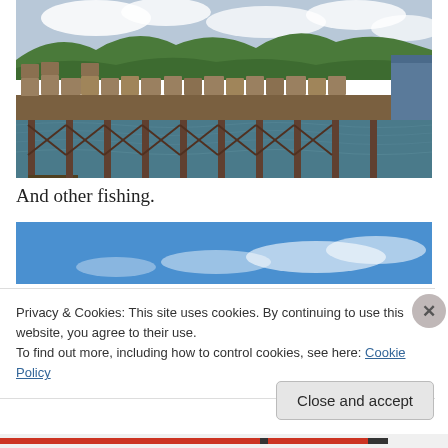[Figure (photo): A fishing pier/dock with crab pots or fishing traps stacked on it, water in the foreground, forested green hills in the background, overcast sky with clouds.]
And other fishing.
[Figure (photo): A blue sky with light white clouds, appears to be the top portion of a second outdoor photo.]
Privacy & Cookies: This site uses cookies. By continuing to use this website, you agree to their use.
To find out more, including how to control cookies, see here: Cookie Policy
Close and accept